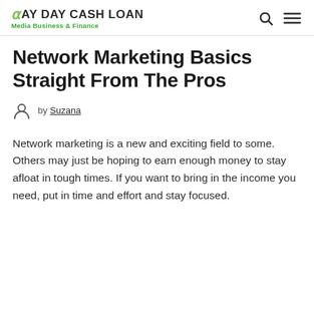PAY DAY CASH LOAN Media Business & Finance
Network Marketing Basics Straight From The Pros
by Suzana
Network marketing is a new and exciting field to some. Others may just be hoping to earn enough money to stay afloat in tough times. If you want to bring in the income you need, put in time and effort and stay focused.